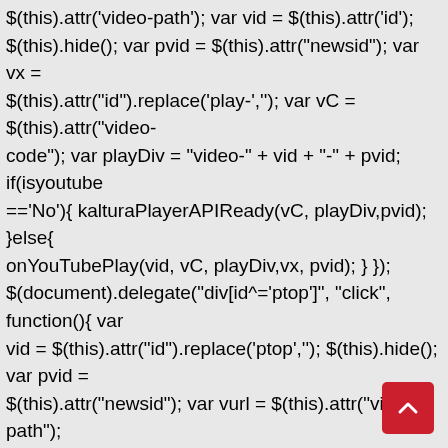$(this).attr('video-path'); var vid = $(this).attr('id'); $(this).hide(); var pvid = $(this).attr("newsid"); var vx = $(this).attr("id").replace('play-',''); var vC = $(this).attr("video-code"); var playDiv = "video-" + vid + "-" + pvid; if(isyoutube =='No'){ kalturaPlayerAPIReady(vC, playDiv,pvid); }else{ onYouTubePlay(vid, vC, playDiv,vx, pvid); } }); $(document).delegate("div[id^='ptop']", "click", function(){ var vid = $(this).attr("id").replace('ptop',''); $(this).hide(); var pvid = $(this).attr("newsid"); var vurl = $(this).attr("video-path"); //console.log($(this).attr("id") + "--" + vid); //console.log($(this).parent().children().find('#play-'+vid).attr("video-source")); //console.log($(this).parent().children().find('#play-'+vid).attr("video-code")); var isyoutube = $(this).parent().children().find('#play-'+vid).attr("video-so...